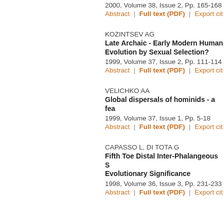2000, Volume 38, Issue 2, Pp. 165-168
Abstract | Full text (PDF) | Export cit
KOZINTSEV AG
Late Archaic - Early Modern Human Evolution by Sexual Selection?
1999, Volume 37, Issue 2, Pp. 111-114
Abstract | Full text (PDF) | Export cit
VELICHKO AA
Global dispersals of hominids - a fea
1999, Volume 37, Issue 1, Pp. 5-18
Abstract | Full text (PDF) | Export cit
CAPASSO L, DI TOTA G
Fifth Toe Distal Inter-Phalangeous S Evolutionary Significance
1998, Volume 36, Issue 3, Pp. 231-233
Abstract | Full text (PDF) | Export cit